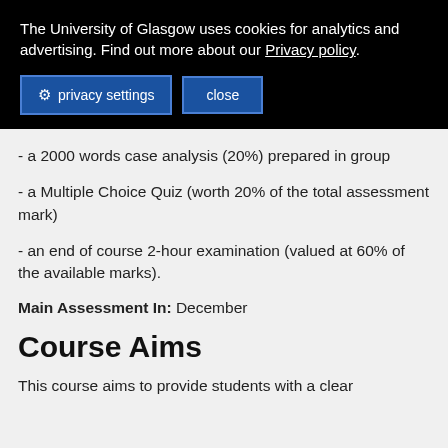The University of Glasgow uses cookies for analytics and advertising. Find out more about our Privacy policy.
privacy settings   close
- a 2000 words case analysis (20%) prepared in group
- a Multiple Choice Quiz (worth 20% of the total assessment mark)
- an end of course 2-hour examination (valued at 60% of the available marks).
Main Assessment In: December
Course Aims
This course aims to provide students with a clear